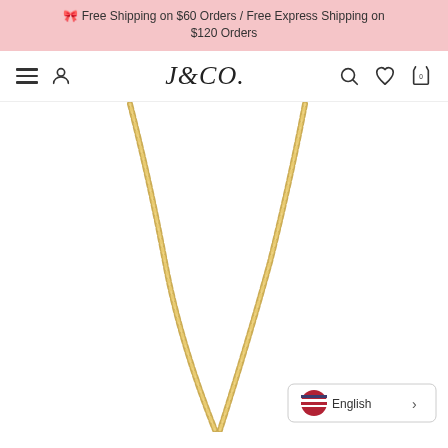🎀 Free Shipping on $60 Orders / Free Express Shipping on $120 Orders
[Figure (logo): J&CO. brand navigation bar with hamburger menu, user icon, logo, search, heart, and cart icons]
[Figure (photo): Gold chain necklace on white background, shown hanging in a V-shape, product photo for J&CO jewelry store]